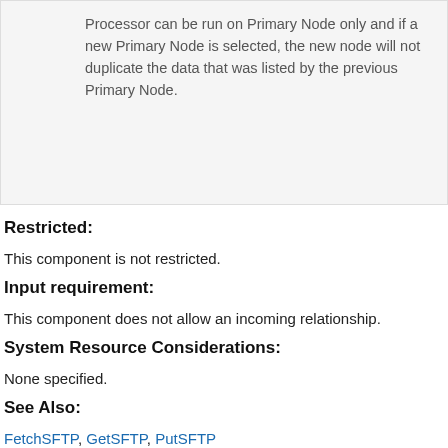|  | Processor can be run on Primary Node only and if a new Primary Node is selected, the new node will not duplicate the data that was listed by the previous Primary Node. |
Restricted:
This component is not restricted.
Input requirement:
This component does not allow an incoming relationship.
System Resource Considerations:
None specified.
See Also:
FetchSFTP, GetSFTP, PutSFTP